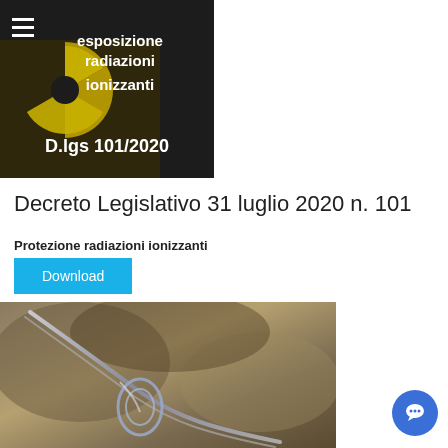[Figure (photo): Dark background image with yellow radioactive warning symbol and white Italian text 'esposizione radiazioni ionizzanti' and 'D.lgs 101/2020'. Hamburger menu icon in top-left corner.]
Decreto Legislativo 31 luglio 2020 n. 101
Protezione radiazioni ionizzanti
Download
[Figure (photo): Close-up photo of a metallic wire or cable knot/loop against a blurred natural background.]